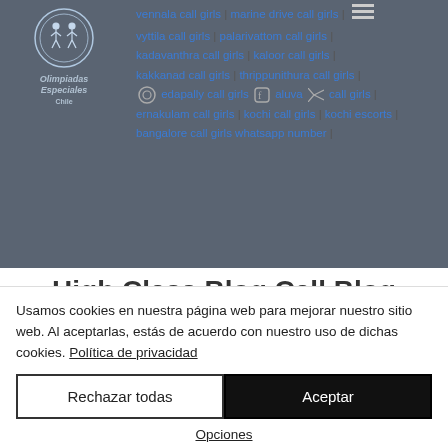[Figure (logo): Olimpiadas Especiales Chile logo — circular emblem with figures and text]
vennala call girls | marine drive call girls | vyttila call girls | palarivattom call girls | kadavanthra call girls | kaloor call girls | kakkanad call girls | thrippunithura call girls | edapally call girls | aluva call girls | ernakulam call girls | kochi call girls | kochi escorts | bangalore call girls whatsapp number |
High Class Blog Call Blog With Real Profile Picture
kadavanthra call girls # palarivattom call girls # vyttila call girls # bangalore college call
Usamos cookies en nuestra página web para mejorar nuestro sitio web. Al aceptarlas, estás de acuerdo con nuestro uso de dichas cookies. Política de privacidad
Rechazar todas
Aceptar
Opciones